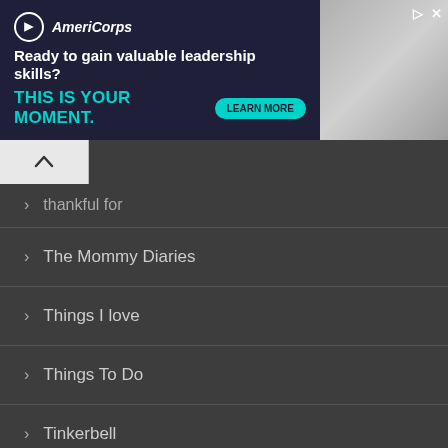[Figure (screenshot): AmeriCorps advertisement banner: 'Ready to gain valuable leadership skills? THIS IS YOUR MOMENT.' with Learn More button and photo of people]
thankful for
The Mommy Diaries
Things I love
Things To Do
Tinkerbell
travel
TTC
Uncategorized
vacation